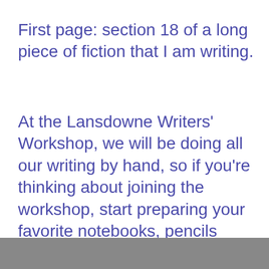First page: section 18 of a long piece of fiction that I am writing.
At the Lansdowne Writers' Workshop, we will be doing all our writing by hand, so if you're thinking about joining the workshop, start preparing your favorite notebooks, pencils and/or pens.
[Figure (photo): A dark/grey image strip at the bottom of the page, partially visible]